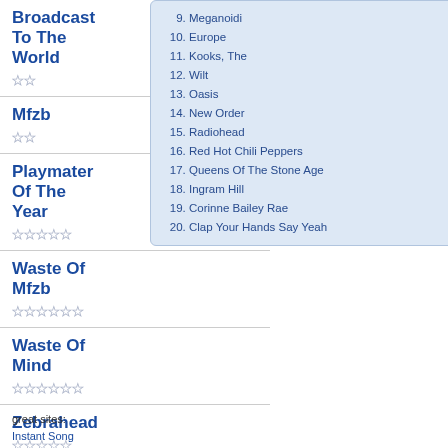Broadcast To The World
Mfzb
Playmater Of The Year
Waste Of Mfzb
Waste Of Mind
Zebrahead
9. Meganoidi
10. Europe
11. Kooks, The
12. Wilt
13. Oasis
14. New Order
15. Radiohead
16. Red Hot Chili Peppers
17. Queens Of The Stone Age
18. Ingram Hill
19. Corinne Bailey Rae
20. Clap Your Hands Say Yeah
great sites:
Instant Song